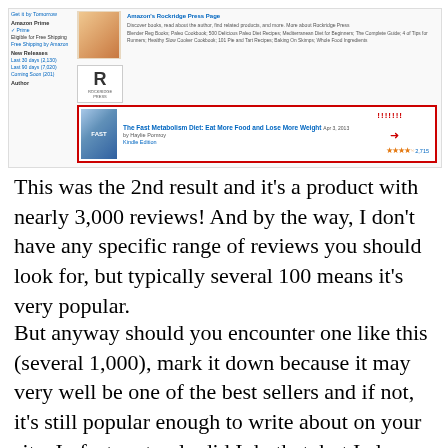[Figure (screenshot): Screenshot of Amazon search results showing a highlighted product listing for 'The Fast Metabolism Diet: Eat More Food and Lose More Weight' with a red border, red exclamation marks, and an arrow pointing to the review count of ~3,000 reviews with a star rating.]
This was the 2nd result and it's a product with nearly 3,000 reviews! And by the way, I don't have any specific range of reviews you should look for, but typically several 100 means it's very popular.
But anyway should you encounter one like this (several 1,000), mark it down because it may very well be one of the best sellers and if not, it's still popular enough to write about on your site. In fact, not only did I do that, but I also wrote an article about it on my website. It ended getting nearly 3,000 visits since the beginning of 2016: